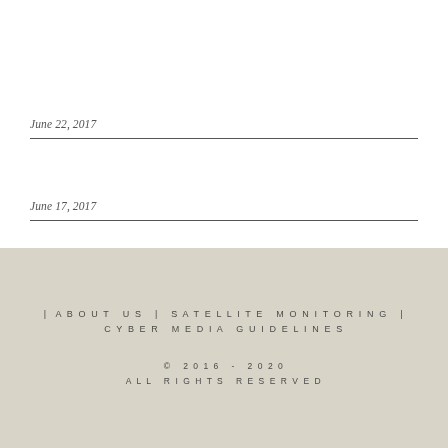June 22, 2017
June 17, 2017
| ABOUT US | SATELLITE MONITORING | CYBER MEDIA GUIDELINES © 2016 - 2020 ALL RIGHTS RESERVED